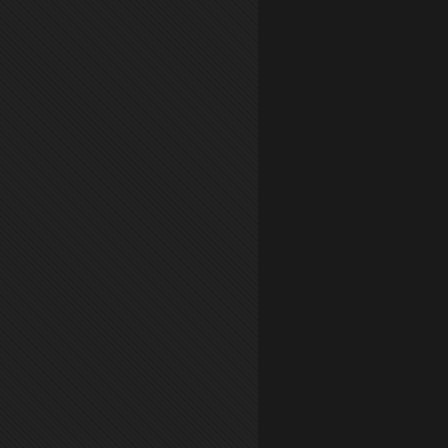https://www.facebook.com/m...
VULTURES: EMPTY SKY / HOLL...
January 14, 2013   harleytex...
[Figure (photo): Dark media embed area, appears to be a video thumbnail with very dark reddish-brown gradient]
how wild the live show must b... with them at their next gig, plu...